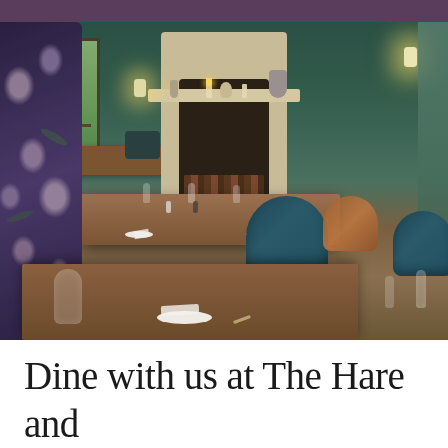[Figure (photo): Interior of an upscale restaurant dining room with dark teal-green walls, a stone fireplace filled with stacked logs, dining tables set with white plates, linen napkins, and wine glasses, mixed seating including teal velvet chairs and floral-patterned booth seating, decorative plants, wall sconces, and mantelpiece decor including candlesticks and a bird figurine.]
Dine with us at The Hare and Hounds